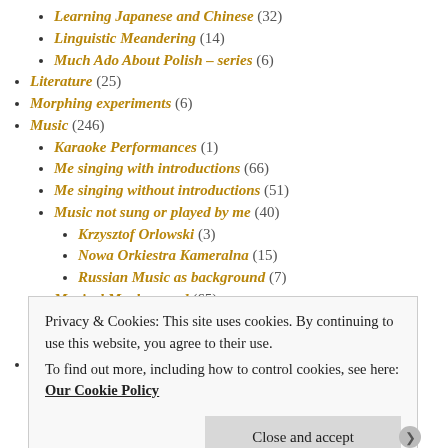Learning Japanese and Chinese (32)
Linguistic Meandering (14)
Much Ado About Polish – series (6)
Literature (25)
Morphing experiments (6)
Music (246)
Karaoke Performances (1)
Me singing with introductions (66)
Me singing without introductions (51)
Music not sung or played by me (40)
Krzysztof Orlowski (3)
Nowa Orkiestra Kameralna (15)
Russian Music as background (7)
Musical Muckaround (65)
My Compositions (17)
Pleasant Musical Selection for Background (25)
My least favorite (5)
Privacy & Cookies: This site uses cookies. By continuing to use this website, you agree to their use. To find out more, including how to control cookies, see here: Our Cookie Policy
Close and accept